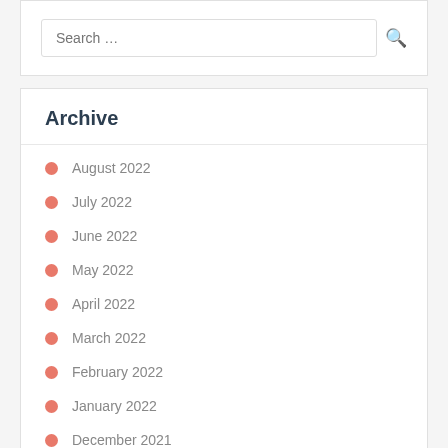Search …
Archive
August 2022
July 2022
June 2022
May 2022
April 2022
March 2022
February 2022
January 2022
December 2021
November 2021
October 2021
September 2021